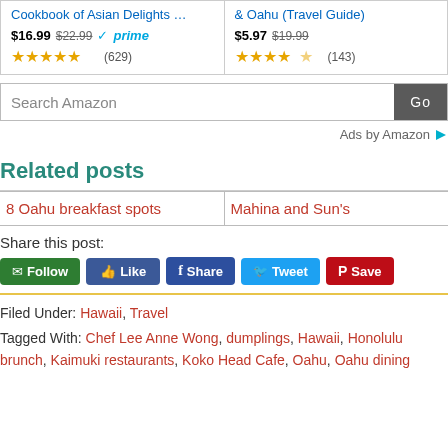[Figure (screenshot): Amazon product cards showing two books with prices and star ratings, plus a search bar and 'Ads by Amazon' label]
Related posts
| 8 Oahu breakfast spots | Mahina and Sun's |
| --- | --- |
Share this post:
Follow | Like | Share | Tweet | Save
Filed Under: Hawaii, Travel
Tagged With: Chef Lee Anne Wong, dumplings, Hawaii, Honolulu brunch, Kaimuki restaurants, Koko Head Cafe, Oahu, Oahu dining